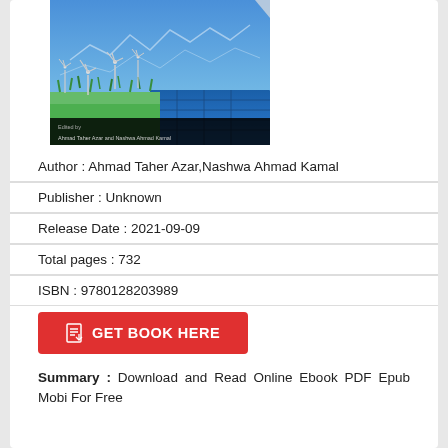[Figure (illustration): Book cover image showing wind turbines, solar panels, green grass, and a blue sky with financial chart overlays. Bottom black banner reads: Edited by Ahmad Taher Azar and Nashwa Ahmad Kamal]
Author : Ahmad Taher Azar,Nashwa Ahmad Kamal
Publisher : Unknown
Release Date : 2021-09-09
Total pages : 732
ISBN : 9780128203989
GET BOOK HERE
Summary : Download and Read Online Ebook PDF Epub Mobi For Free